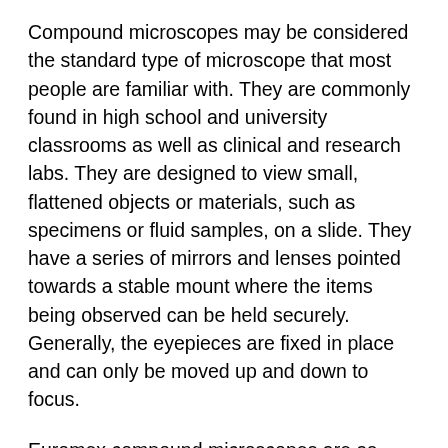Compound microscopes may be considered the standard type of microscope that most people are familiar with. They are commonly found in high school and university classrooms as well as clinical and research labs. They are designed to view small, flattened objects or materials, such as specimens or fluid samples, on a slide. They have a series of mirrors and lenses pointed towards a stable mount where the items being observed can be held securely. Generally, the eyepieces are fixed in place and can only be moved up and down to focus.
Euromex compound microscopes are as useful in the classroom as they are in a clinical lab. Durable and customizable, these microscopes will give you the power and convenience you need at affordable prices.
As an additional safety measure and to protect the integrity of your samples, the most critical components of all Euromex microscopes are treated with an antibacterial